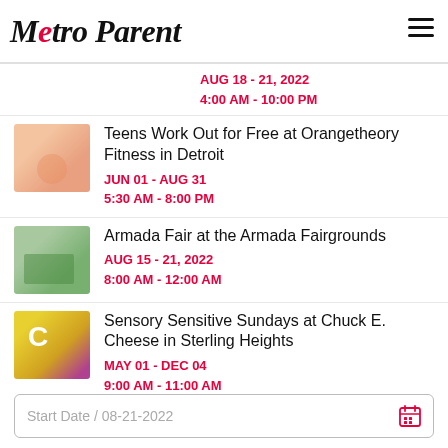Metro Parent
AUG 18 - 21, 2022
4:00 AM - 10:00 PM
[Figure (photo): Person doing yoga/fitness exercise]
Teens Work Out for Free at Orangetheory Fitness in Detroit
JUN 01 - AUG 31
5:30 AM - 8:00 PM
[Figure (photo): Children drawing or doing arts and crafts outdoors]
Armada Fair at the Armada Fairgrounds
AUG 15 - 21, 2022
8:00 AM - 12:00 AM
[Figure (photo): Chuck E. Cheese mascot character with colorful balls]
Sensory Sensitive Sundays at Chuck E. Cheese in Sterling Heights
MAY 01 - DEC 04
9:00 AM - 11:00 AM
Start Date / 08-21-2022